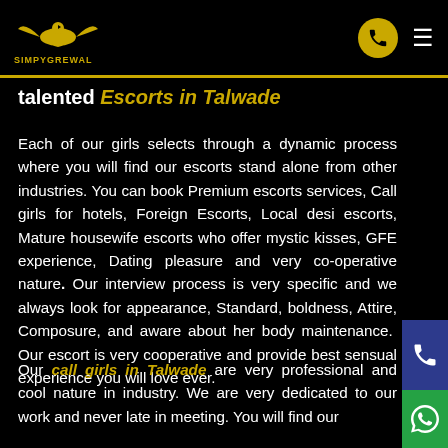SIMPYGREWAL — navigation header with logo, phone circle button, and hamburger menu
talented Escorts in Talwade
Each of our girls selects through a dynamic process where you will find our escorts stand alone from other industries. You can book Premium escorts services, Call girls for hotels, Foreign Escorts, Local desi escorts, Mature housewife escorts who offer mystic kisses, GFE experience, Dating pleasure and very co-operative nature. Our interview process is very specific and we always look for appearance, Standard, boldness, Attire, Composure, and aware about her body maintenance. Our escort is very cooperative and provide best sensual experience you will love ever.
Our call girls in Talwade are very professional and cool nature in industry. We are very dedicated to our work and never late in meeting. You will find our